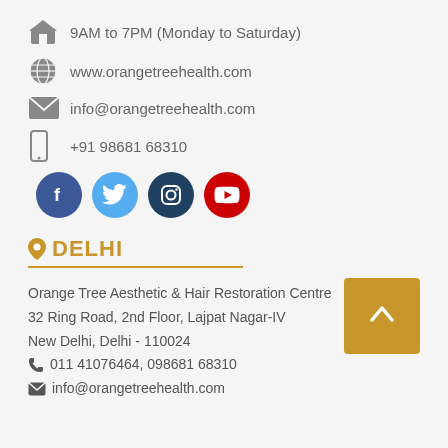9AM to 7PM (Monday to Saturday)
www.orangetreehealth.com
info@orangetreehealth.com
+91 98681 68310
[Figure (illustration): Social media icons: Facebook, Twitter, Instagram, YouTube]
DELHI
Orange Tree Aesthetic & Hair Restoration Centre
32 Ring Road, 2nd Floor, Lajpat Nagar-IV
New Delhi, Delhi - 110024
011 41076464, 098681 68310
info@orangetreehealth.com